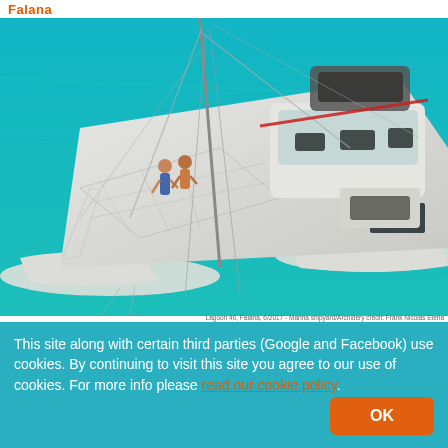Falana
[Figure (photo): Aerial view of a white catamaran sailing on turquoise waters, with two people standing on the bow. The catamaran has a large deck, mast with rigging, solar panels, and a cabin with windows.]
Lagoon 46, Falana, 6/2017 - Marina shipyard/Archidery credit: Frank Nicolas Elena
This site along with certain third parties (Google and Facebook) use cookies. By continuing to visit this site you agree to our use of cookies. For more info please read our cookie policy. OK